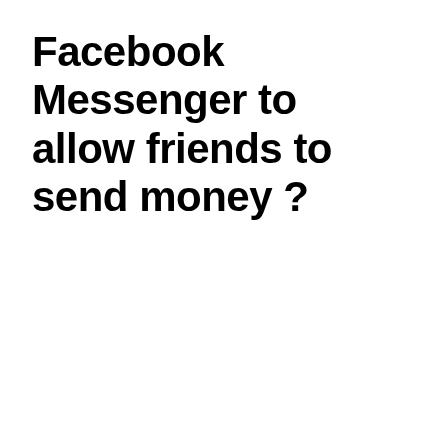Facebook Messenger to allow friends to send money ?